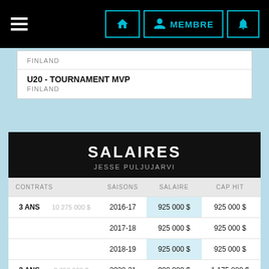Navigation bar with hamburger menu, home icon, MEMBRE button, and notification bell
FINLAND
U20 - TOURNAMENT MVP
FINLAND
SALAIRES
JESSE PULJUJARVI
| CONTRATS |  | SAISONS | SALAIRE | CAP HIT |
| --- | --- | --- | --- | --- |
| 3 ANS | 10 275 000 $ | 2016-17 | 925 000 $ | 925 000 $ |
|  |  | 2017-18 | 925 000 $ | 925 000 $ |
|  |  | 2018-19 | 925 000 $ | 925 000 $ |
| 2 ANS | 2 350 000 $ | 2020-21 | 900 000 $ | 1 175 000 $ |
|  |  | 2021-22 | 1 450 000 $ | 1 175 000 $ |
| 1 AN | 3 000 000 $ | 2022-23 | 3 000 000 $ | 3 000 000 $ |
| TOTAL |  |  | 8 125 000 $ | 8 125 000 $ |